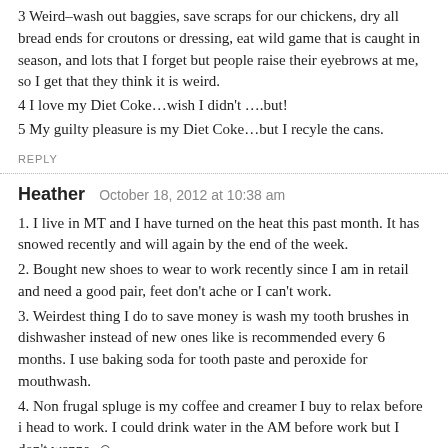3 Weird–wash out baggies, save scraps for our chickens, dry all bread ends for croutons or dressing, eat wild game that is caught in season, and lots that I forget but people raise their eyebrows at me, so I get that they think it is weird.
4 I love my Diet Coke…wish I didn't ….but!
5 My guilty pleasure is my Diet Coke…but I recyle the cans.
REPLY
Heather   October 18, 2012 at 10:38 am
1. I live in MT and I have turned on the heat this past month. It has snowed recently and will again by the end of the week.
2. Bought new shoes to wear to work recently since I am in retail and need a good pair, feet don't ache or I can't work.
3. Weirdest thing I do to save money is wash my tooth brushes in dishwasher instead of buying new ones like is recommended every 6 months. I use baking soda for tooth paste and peroxide for mouthwash.
4. Non frugal spluge is my coffee and creamer I buy to relax before i head to work. I could drink water in the AM before work but I don't wanna. ☺